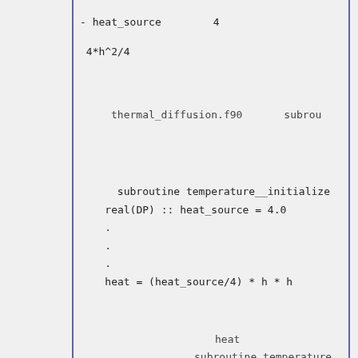- heat_source　　　　　4
4*h^2/4
thermal_diffusion.f90　　　　subroutine
subroutine temperature__initialize
    real(DP) :: heat_source = 4.0
    .
    .
    .
    heat = (heat_source/4) * h * h
heat　　　　　
　　　　　　　　　subroutine temperature__u
subroutine temperature__update
    integer :: i, j
    .